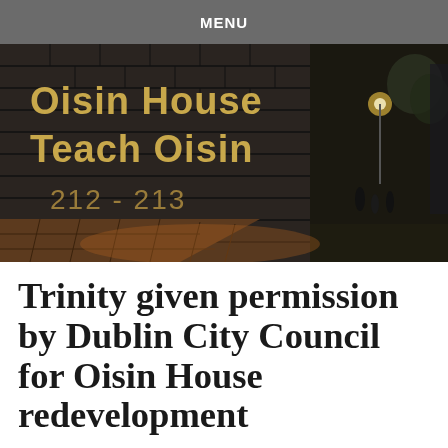MENU
[Figure (photo): Photograph of Oisin House sign mounted on a dark brick wall, showing text 'Oisin House / Teach Oisin / 212 - 213' in gold lettering, with a brick pathway and street lights visible in the background at dusk.]
Trinity given permission by Dublin City Council for Oisin House redevelopment